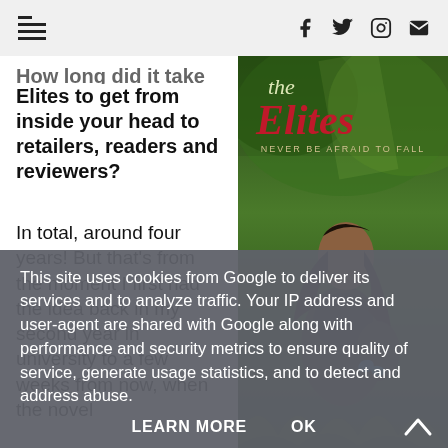[hamburger menu icon] [Facebook] [Twitter] [Instagram] [Email]
How long did it take The Elites to get from inside your head to retailers, readers and reviewers?
In total, around four years! But that's from the moment I first had the idea back in my second year in university to a few weeks from now, when the novel
[Figure (illustration): Book cover for 'The Elites' showing a young woman in armor in a green forest setting, with red cursive title text and tagline 'NEVER BE AFRAID TO FALL']
This site uses cookies from Google to deliver its services and to analyze traffic. Your IP address and user-agent are shared with Google along with performance and security metrics to ensure quality of service, generate usage statistics, and to detect and address abuse.
LEARN MORE   OK